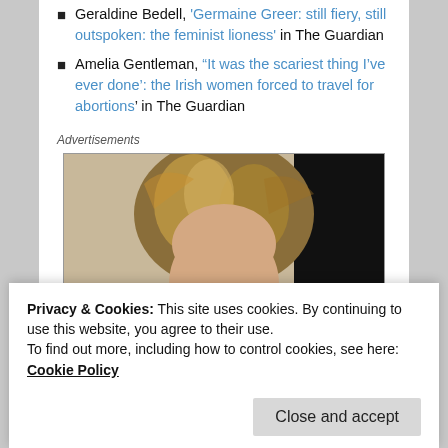Geraldine Bedell, 'Germaine Greer: still fiery, still outspoken: the feminist lioness' in The Guardian
Amelia Gentleman, “It was the scariest thing I’ve ever done’: the Irish women forced to travel for abortions’ in The Guardian
Advertisements
[Figure (photo): Partial photo of a woman with wavy blonde/brown hair against a dark background, shown from forehead down, cropped by cookie banner overlay]
Privacy & Cookies: This site uses cookies. By continuing to use this website, you agree to their use.
To find out more, including how to control cookies, see here: Cookie Policy